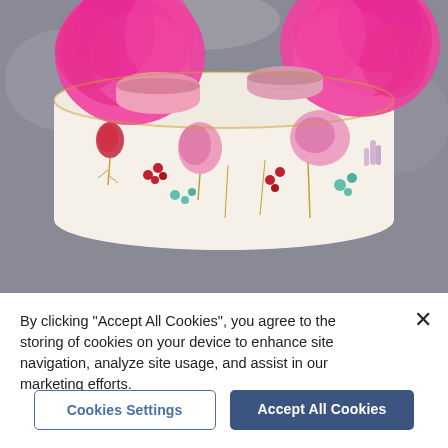[Figure (photo): A decorated celebration cake with white frosting painted with colorful floral motifs in pink, red, and teal. The top of the cake is adorned with large pink peony flowers and pink macarons. The background is blurred gray.]
By clicking "Accept All Cookies", you agree to the storing of cookies on your device to enhance site navigation, analyze site usage, and assist in our marketing efforts.
×
Cookies Settings
Accept All Cookies